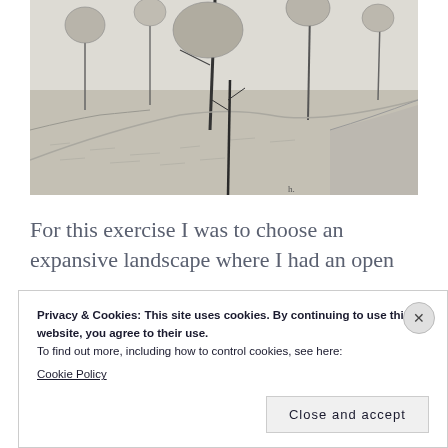[Figure (illustration): Pencil sketch / drawing of an expansive park landscape with trees, a winding path, and open ground]
For this exercise I was to choose an expansive landscape where I had an open
Privacy & Cookies: This site uses cookies. By continuing to use this website, you agree to their use.
To find out more, including how to control cookies, see here:
Cookie Policy